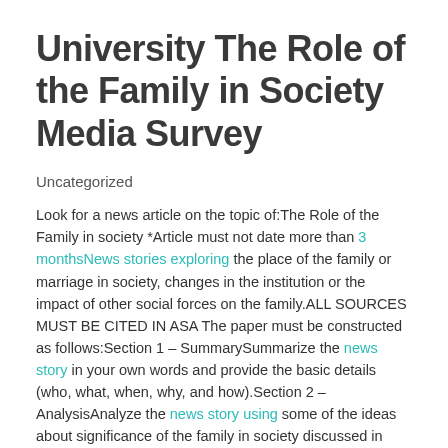University The Role of the Family in Society Media Survey
Uncategorized
Look for a news article on the topic of:The Role of the Family in society *Article must not date more than 3 monthsNews stories exploring the place of the family or marriage in society, changes in the institution or the impact of other social forces on the family.ALL SOURCES MUST BE CITED IN ASA The paper must be constructed as follows:Section 1 – SummarySummarize the news story in your own words and provide the basic details (who, what, when, why, and how).Section 2 – AnalysisAnalyze the news story using some of the ideas about significance of the family in society discussed in chapter 12 of the textbook. Discuss how the theories or ideas apply to your news story? Consider the